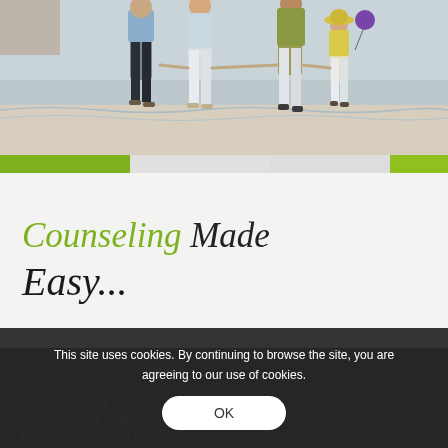[Figure (photo): Family of four walking on a beach, viewed from behind. Two adults and two children, one carrying a purple balloon. Sandy beach with ocean in the background.]
Counseling Made Easy...
At the family therapy clinic and counseling sessions, clients get the opportunity to work in close collaboration with qualified therapist. The approach ensures
This site uses cookies. By continuing to browse the site, you are agreeing to our use of cookies.
OK